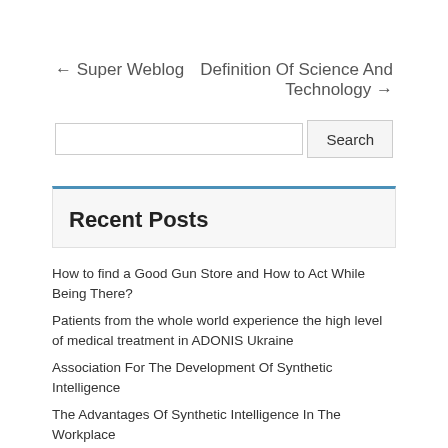← Super Weblog
Definition Of Science And Technology →
[Figure (screenshot): Search input box with Search button]
Recent Posts
How to find a Good Gun Store and How to Act While Being There?
Patients from the whole world experience the high level of medical treatment in ADONIS Ukraine
Association For The Development Of Synthetic Intelligence
The Advantages Of Synthetic Intelligence In The Workplace
Failed Login